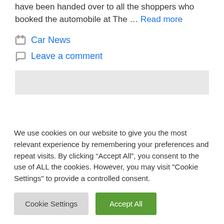have been handed over to all the shoppers who booked the automobile at The … Read more
Car News
Leave a comment
We use cookies on our website to give you the most relevant experience by remembering your preferences and repeat visits. By clicking “Accept All”, you consent to the use of ALL the cookies. However, you may visit "Cookie Settings" to provide a controlled consent.